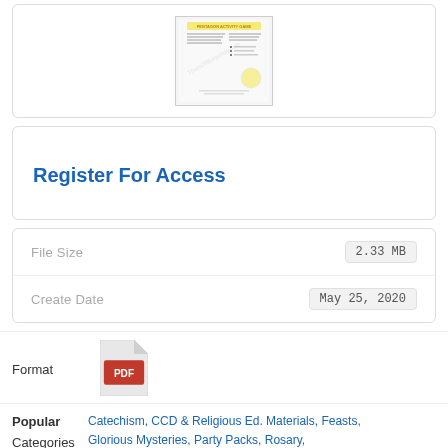[Figure (screenshot): Thumbnail preview of a document page with colorful title and text columns]
Register For Access
| Field | Value |
| --- | --- |
| File Size | 2.33 MB |
| Create Date | May 25, 2020 |
Format
[Figure (other): PDF file icon (red Adobe-style document icon)]
Popular Categories
Catechism, CCD & Religious Ed. Materials, Feasts, Glorious Mysteries, Party Packs, Rosary,